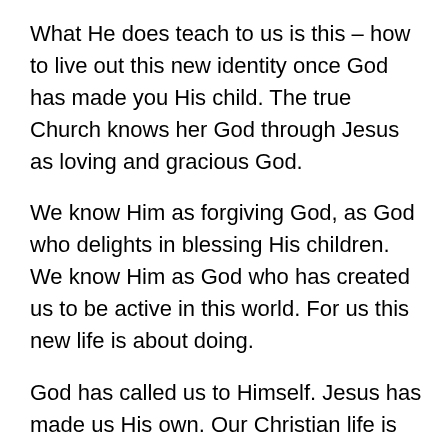What He does teach to us is this – how to live out this new identity once God has made you His child. The true Church knows her God through Jesus as loving and gracious God.
We know Him as forgiving God, as God who delights in blessing His children. We know Him as God who has created us to be active in this world. For us this new life is about doing.
God has called us to Himself. Jesus has made us His own. Our Christian life is about taking all the talents that Jesus has entrusted to us and using them for the benefit of others.
Do you remember how Luther explains all the Commandments in the Small Catechism? It is not about